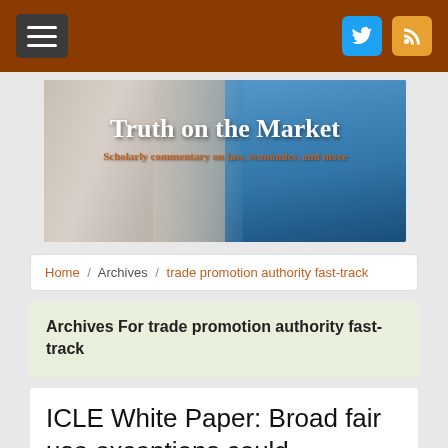Truth on the Market — Scholarly commentary on law, economics, and more
Home / Archives / trade promotion authority fast-track
Archives For trade promotion authority fast-track
ICLE White Paper: Broad fair use exceptions could discourage innovation worldwide